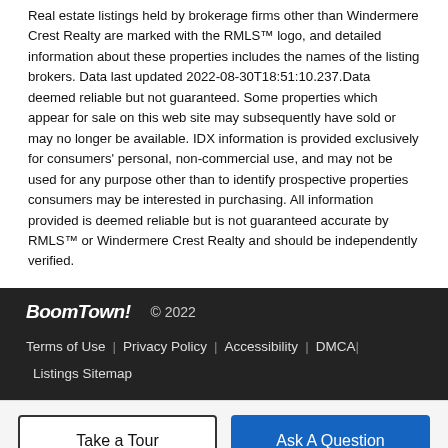Real estate listings held by brokerage firms other than Windermere Crest Realty are marked with the RMLS™ logo, and detailed information about these properties includes the names of the listing brokers. Data last updated 2022-08-30T18:51:10.237.Data deemed reliable but not guaranteed. Some properties which appear for sale on this web site may subsequently have sold or may no longer be available. IDX information is provided exclusively for consumers' personal, non-commercial use, and may not be used for any purpose other than to identify prospective properties consumers may be interested in purchasing. All information provided is deemed reliable but is not guaranteed accurate by RMLS™ or Windermere Crest Realty and should be independently verified.
BoomTown! © 2022 | Terms of Use | Privacy Policy | Accessibility | DMCA | Listings Sitemap
Take a Tour | Ask A Question